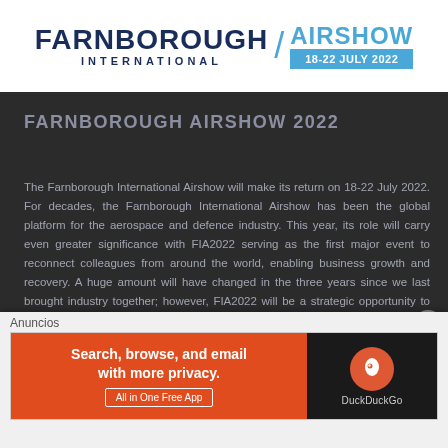[Figure (logo): Farnborough International Airshow logo with text 'FARNBOROUGH INTERNATIONAL' on the left and 'AIRSHOW 18-22 JULY 2022' in blue on the right, on a white banner background]
FARNBOROUGH AIRSHOW 2022
The Farnborough International Airshow will make its return on 18-22 July 2022. For decades, the Farnborough International Airshow has been the global platform for the aerospace and defence industry. This year, its role will carry even greater significance with FIA2022 serving as the first major event to reconnect colleagues from around the world, enabling business growth and recovery. A huge amount will have changed in the three years since we last brought industry together; however, FIA2022 will be a strategic opportunity to witness the leaps in development that have taken place as well as showcasing innovation to a truly global audience, face-to-face.
[Figure (advertisement): DuckDuckGo advertisement banner: left side orange with text 'Search, browse, and email with more privacy. All in One Free App', right side dark with DuckDuckGo logo and name]